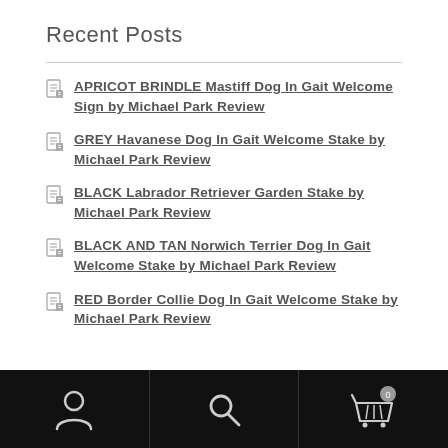Recent Posts
APRICOT BRINDLE Mastiff Dog In Gait Welcome Sign by Michael Park Review
GREY Havanese Dog In Gait Welcome Stake by Michael Park Review
BLACK Labrador Retriever Garden Stake by Michael Park Review
BLACK AND TAN Norwich Terrier Dog In Gait Welcome Stake by Michael Park Review
RED Border Collie Dog In Gait Welcome Stake by Michael Park Review
[Figure (infographic): Bottom navigation bar with user/account icon, search icon, and shopping cart icon with badge showing 0]